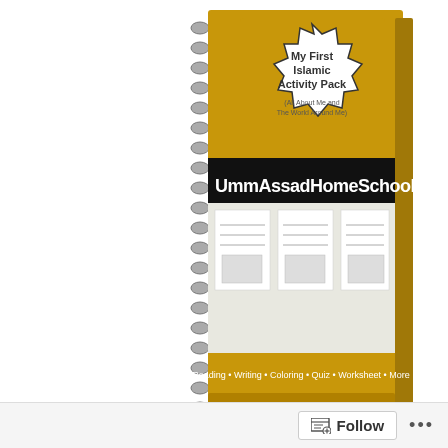[Figure (illustration): A 3D rendered spiral-bound book titled 'My First Islamic Activity Pack (All About Me and The World Around Me)' by UmmAssadHomeSchool. The book has a golden/yellow cover with a black banner showing 'UmmAssadHomeSchool' text. Below the banner are illustrated pages showing coloring activities. The bottom reads 'Reading • Writing • Coloring • Quiz • Worksheet • More'.]
About the Pack:
'My First Islamic Activity Pack' is made by UmmAssadHomeschool.com and aims to help young children aged 4-8 years to understand themselves and the world around them from a pure Islamic point of view (only authentic resources from the Quran, Hadith
Follow ...